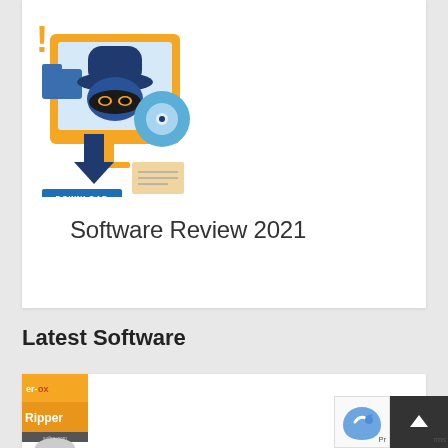[Figure (illustration): Cybersecurity illustration showing a computer monitor with a spy/hacker figure wearing a blue hat and mask, with an orange download arrow, file folder icons, a CD/DVD disc, and a DOWNLOAD button. The monitor has an orange bezel/frame.]
Software Review 2021
Latest Software
[Figure (photo): Partial view of a software box with orange branding showing 'er-box' at top and 'Ripper' text, with a DVD disc visible at the bottom.]